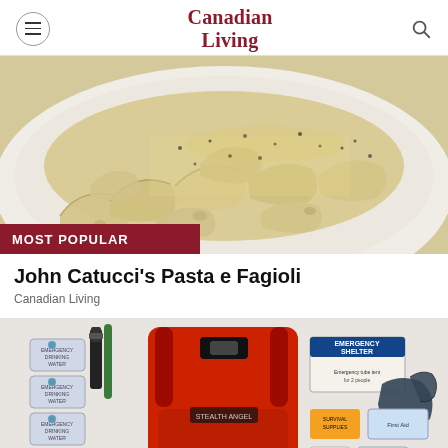Canadian Living
[Figure (photo): Close-up photo of shell pasta (conchiglie) with black pepper and cheese on a white plate. A red 'MOST POPULAR' badge overlays the bottom-left of the image.]
John Catucci's Pasta e Fagioli
Canadian Living
[Figure (photo): Photo of an emergency preparedness kit including a large red backpack (Stealth Angel brand), emergency drinking water pouches, a flashlight, emergency shelter packet, gloves, and other survival supplies.]